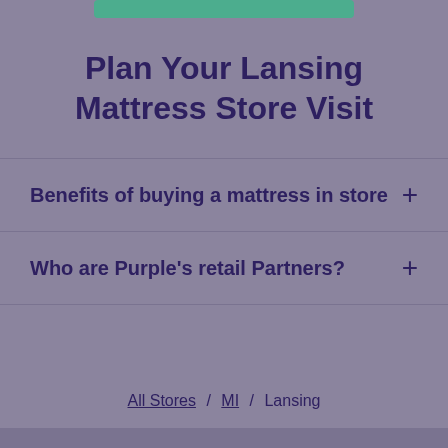Plan Your Lansing Mattress Store Visit
Benefits of buying a mattress in store
Who are Purple's retail Partners?
All Stores / MI / Lansing